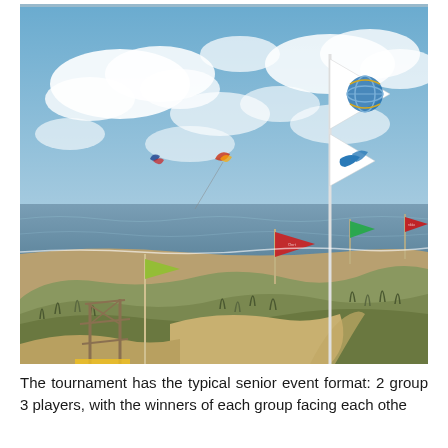[Figure (photo): Beach scene with a tall flagpole flying two flags (one white with a blue globe emblem, one white with a blue bird/wave logo). Sandy dunes with grass in the foreground, colorful event flags (yellow-green, red, green, red) on poles along the beach, a kite in the sky, the sea visible in the background, and partly cloudy blue sky. A wooden scaffold structure is visible on the lower left.]
The tournament has the typical senior event format: 2 group 3 players, with the winners of each group facing each othe